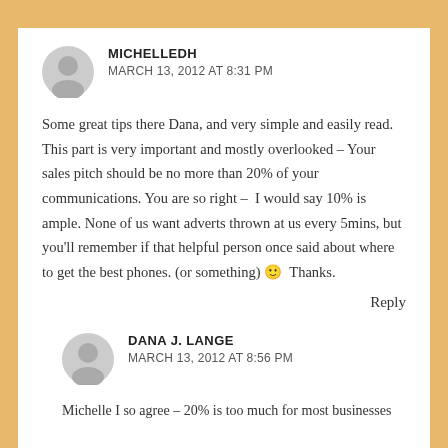MICHELLEDH
MARCH 13, 2012 AT 8:31 PM
Some great tips there Dana, and very simple and easily read. This part is very important and mostly overlooked – Your sales pitch should be no more than 20% of your communications. You are so right –  I would say 10% is ample. None of us want adverts thrown at us every 5mins, but you'll remember if that helpful person once said about where to get the best phones. (or something) 🙂  Thanks.
Reply
DANA J. LANGE
MARCH 13, 2012 AT 8:56 PM
Michelle I so agree – 20% is too much for most businesses